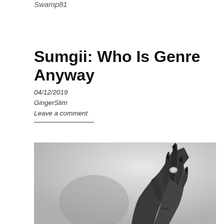Swamp81
Sumgii: Who Is Genre Anyway
04/12/2019
GingerSlim
Leave a comment
[Figure (photo): Black and white photo of a tattooed hand with long black nails and a decorative ring, raised with fingers pointing upward, casting a shadow on the wall behind.]